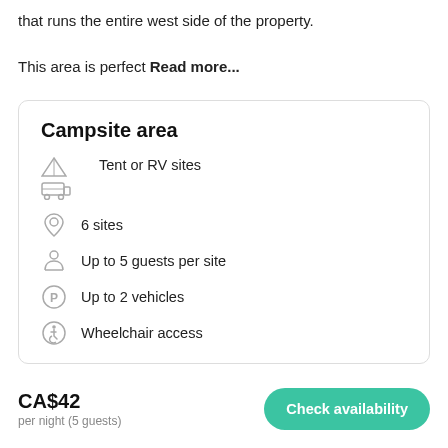that runs the entire west side of the property.
This area is perfect Read more...
Campsite area
Tent or RV sites
6 sites
Up to 5 guests per site
Up to 2 vehicles
Wheelchair access
Expand
CA$42 per night (5 guests)
Check availability